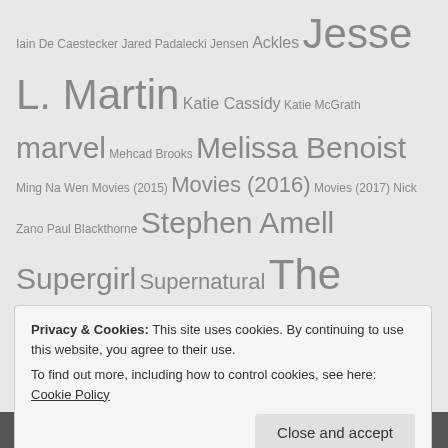Iain De Caestecker Jared Padalecki Jensen Ackles Jesse L. Martin Katie Cassidy Katie McGrath marvel Mehcad Brooks Melissa Benoist Ming Na Wen Movies (2015) Movies (2016) Movies (2017) Nick Zano Paul Blackthorne Stephen Amell Supergirl Supernatural The Flash Tom Cavanagh TV Show (2015) TV Show (2016) TV Show (2017) TV Show (2018) TV Show (2019) TV Show (2020) TV Show (2021) Willa Holland
Privacy & Cookies: This site uses cookies. By continuing to use this website, you agree to their use. To find out more, including how to control cookies, see here: Cookie Policy
Close and accept
Subscribe here and be notified